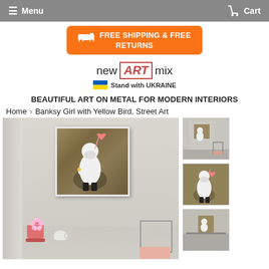Menu   Cart
[Figure (illustration): Orange truck banner with text FREE SHIPPING & FREE RETURNS]
[Figure (logo): new ART mix logo with Stand with UKRAINE and Ukrainian flag]
BEAUTIFUL ART ON METAL FOR MODERN INTERIORS
Home > Banksy Girl with Yellow Bird, Street Art
[Figure (photo): Main product image: Banksy Girl with Yellow Bird street art print displayed on wall in modern room with chair, flower pot, and kettle]
[Figure (photo): Thumbnail 1: Product in room setting]
[Figure (photo): Thumbnail 2: Close-up of Banksy Girl with Yellow Bird artwork]
[Figure (photo): Thumbnail 3: Product displayed on shelf/wall]